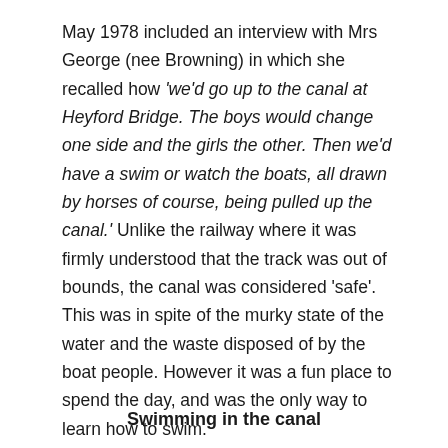May 1978 included an interview with Mrs George (nee Browning) in which she recalled how 'we'd go up to the canal at Heyford Bridge. The boys would change one side and the girls the other. Then we'd have a swim or watch the boats, all drawn by horses of course, being pulled up the canal.' Unlike the railway where it was firmly understood that the track was out of bounds, the canal was considered 'safe'. This was in spite of the murky state of the water and the waste disposed of by the boat people. However it was a fun place to spend the day, and was the only way to learn how to swim.
Swimming in the canal